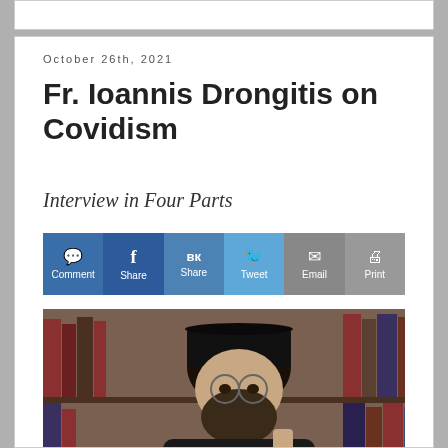October 26th, 2021
Fr. Ioannis Drongitis on Covidism
Interview in Four Parts
[Figure (infographic): Social sharing bar with buttons: Comment, Share (Facebook), Share (VK), Tweet, Email, Print]
[Figure (photo): Photograph of Fr. Ioannis Drongitis, a bearded man wearing a black clerical hat and glasses, seated in front of bookshelves filled with books]